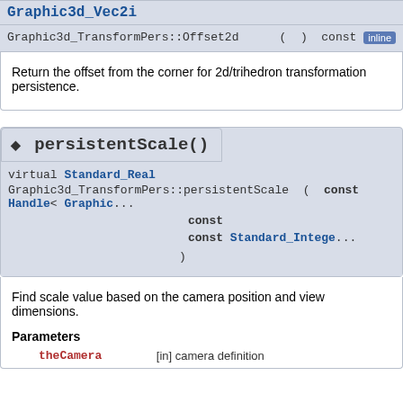Graphic3d_Vec2i
Graphic3d_TransformPers::Offset2d ( ) const inline
Return the offset from the corner for 2d/trihedron transformation persistence.
◆ persistentScale()
virtual Standard_Real Graphic3d_TransformPers::persistentScale ( const Handle< Graphic... const const Standard_Intege... )
Find scale value based on the camera position and view dimensions.
Parameters
theCamera [in] camera definition